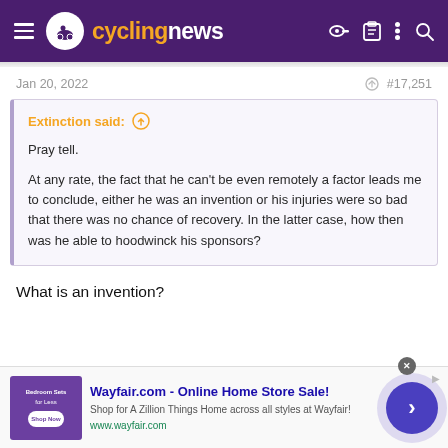cyclingnews
Jan 20, 2022  #17,251
Extinction said:
Pray tell.

At any rate, the fact that he can't be even remotely a factor leads me to conclude, either he was an invention or his injuries were so bad that there was no chance of recovery. In the latter case, how then was he able to hoodwinck his sponsors?
What is an invention?
[Figure (infographic): Wayfair.com advertisement banner: 'Wayfair.com - Online Home Store Sale! Shop for A Zillion Things Home across all styles at Wayfair! www.wayfair.com' with a purple bedroom image and a circular CTA button.]